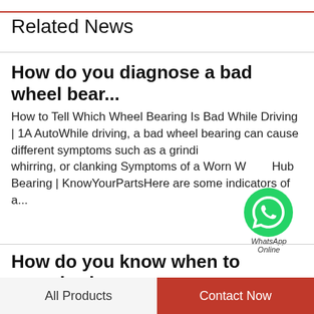Related News
How do you diagnose a bad wheel bear...
How to Tell Which Wheel Bearing Is Bad While Driving | 1A AutoWhile driving, a bad wheel bearing can cause different symptoms such as a grinding, whirring, or clanking Symptoms of a Worn Wheel Hub Bearing | KnowYourPartsHere are some indicators of a...
[Figure (logo): WhatsApp green circle logo with phone icon and 'WhatsApp Online' label]
How do you know when to repack whe...
Know the Ins and Outs of Wheel Bearings to Ensure a SmoothBut, the average life of a sealed wheel bearing could be between 85,000 to 100,000 miles...
All Products   Contact Now